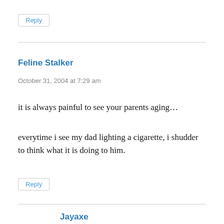Reply
Feline Stalker
October 31, 2004 at 7:29 am
it is always painful to see your parents aging...
everytime i see my dad lighting a cigarette, i shudder to think what it is doing to him.
Reply
Jayaxe